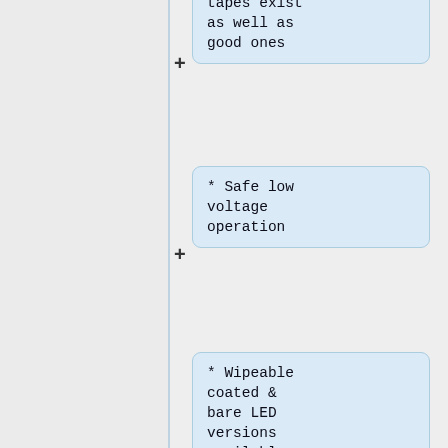tapes exist as well as good ones
* Safe low voltage operation
* Wipeable coated & bare LED versions available
* RGB available giving selectable colours